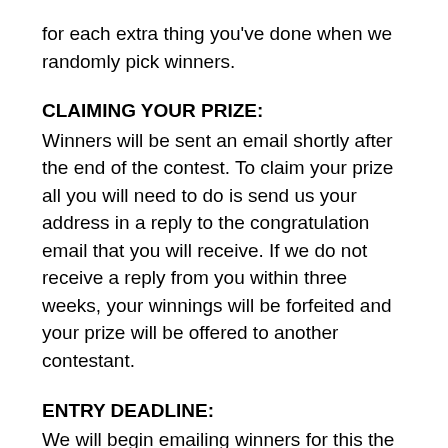for each extra thing you've done when we randomly pick winners.
CLAIMING YOUR PRIZE:
Winners will be sent an email shortly after the end of the contest. To claim your prize all you will need to do is send us your address in a reply to the congratulation email that you will receive. If we do not receive a reply from you within three weeks, your winnings will be forfeited and your prize will be offered to another contestant.
ENTRY DEADLINE:
We will begin emailing winners for this the week of February 28, 2009, which means you have until February 27, 2009 at 11:59 to enter.